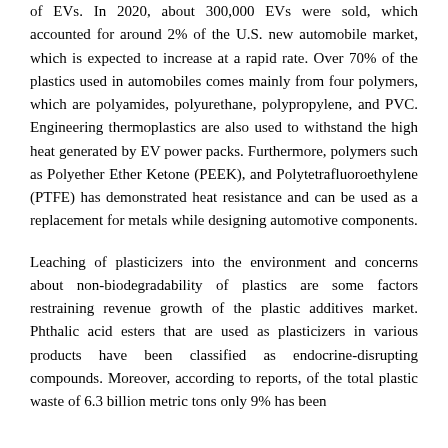of EVs. In 2020, about 300,000 EVs were sold, which accounted for around 2% of the U.S. new automobile market, which is expected to increase at a rapid rate. Over 70% of the plastics used in automobiles comes mainly from four polymers, which are polyamides, polyurethane, polypropylene, and PVC. Engineering thermoplastics are also used to withstand the high heat generated by EV power packs. Furthermore, polymers such as Polyether Ether Ketone (PEEK), and Polytetrafluoroethylene (PTFE) has demonstrated heat resistance and can be used as a replacement for metals while designing automotive components.
Leaching of plasticizers into the environment and concerns about non-biodegradability of plastics are some factors restraining revenue growth of the plastic additives market. Phthalic acid esters that are used as plasticizers in various products have been classified as endocrine-disrupting compounds. Moreover, according to reports, of the total plastic waste of 6.3 billion metric tons only 9% has been